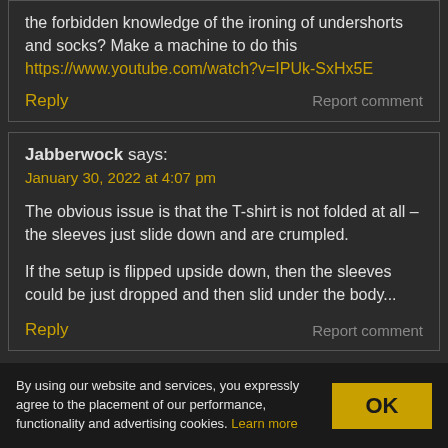the forbidden knowledge of the ironing of undershorts and socks? Make a machine to do this https://www.youtube.com/watch?v=IPUk-SxHx5E
Reply   Report comment
Jabberwock says:
January 30, 2022 at 4:07 pm

The obvious issue is that the T-shirt is not folded at all – the sleeves just slide down and are crumpled.

If the setup is flipped upside down, then the sleeves could be just dropped and then slid under the body...
Reply   Report comment
By using our website and services, you expressly agree to the placement of our performance, functionality and advertising cookies. Learn more